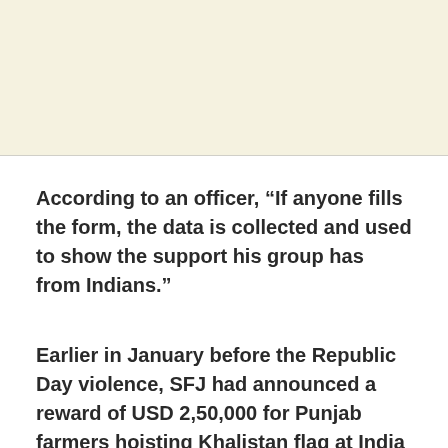According to an officer, “If anyone fills the form, the data is collected and used to show the support his group has from Indians.”
Earlier in January before the Republic Day violence, SFJ had announced a reward of USD 2,50,000 for Punjab farmers hoisting Khalistan flag at India Gate, as well as Red Fort in the national